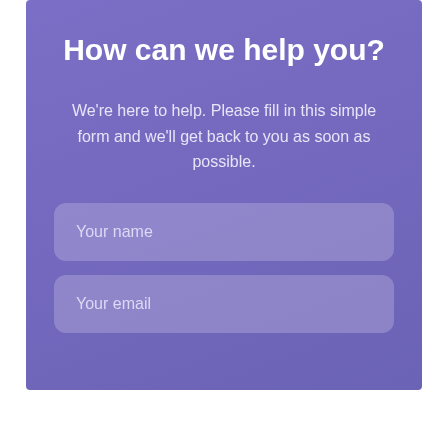How can we help you?
We're here to help. Please fill in this simple form and we'll get back to you as soon as possible.
Your name
Your email